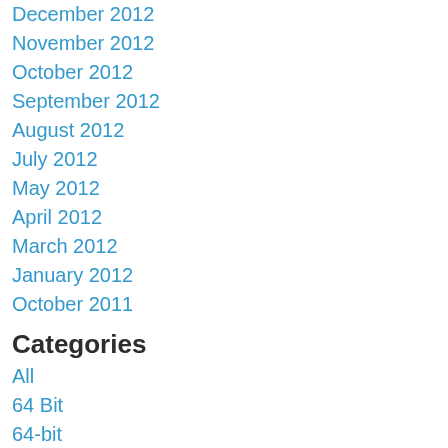December 2012
November 2012
October 2012
September 2012
August 2012
July 2012
May 2012
April 2012
March 2012
January 2012
October 2011
Categories
All
64 Bit
64-bit
Academia
Acrobat Reader
Acroread
Binding Sites
Bioinformatics